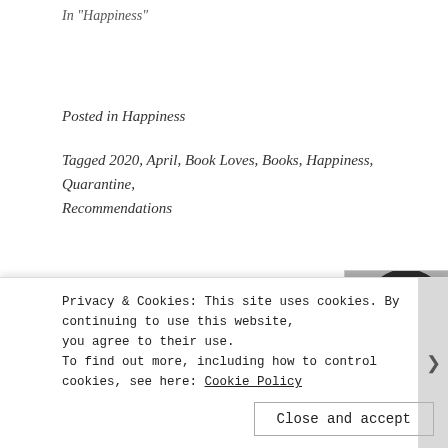In "Happiness"
Posted in Happiness
Tagged 2020, April, Book Loves, Books, Happiness, Quarantine, Recommendations
Published by Kaitlin Powell
[Figure (photo): Black and white portrait photo of Kaitlin Powell, a woman with long dark hair, smiling]
Writer. Athlete. Scholar. View all posts by Kaitlin Powell
Privacy & Cookies: This site uses cookies. By continuing to use this website, you agree to their use.
To find out more, including how to control cookies, see here: Cookie Policy
Close and accept